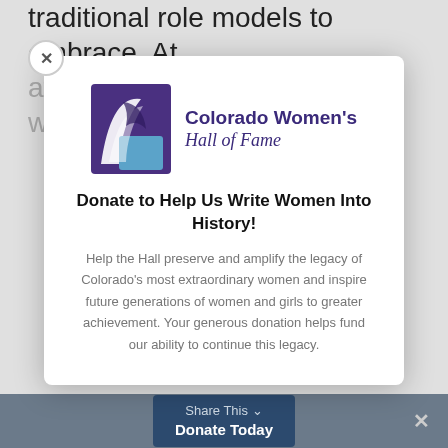traditional role models to embrace. At that time, she was the only woman in the
[Figure (logo): Colorado Women's Hall of Fame logo — stylized purple and blue shield/swoosh mark with text 'Colorado Women's Hall of Fame']
Donate to Help Us Write Women Into History!
Help the Hall preserve and amplify the legacy of Colorado's most extraordinary women and inspire future generations of women and girls to greater achievement. Your generous donation helps fund our ability to continue this legacy.
Share This   Donate Today   ✕